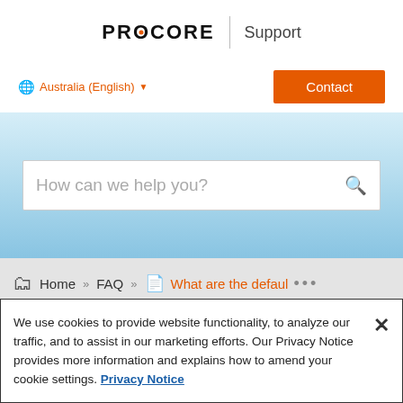PROCORE | Support
Australia (English) ▾
Contact
How can we help you?
Home » FAQ » What are the defaul ...
We use cookies to provide website functionality, to analyze our traffic, and to assist in our marketing efforts. Our Privacy Notice provides more information and explains how to amend your cookie settings. Privacy Notice